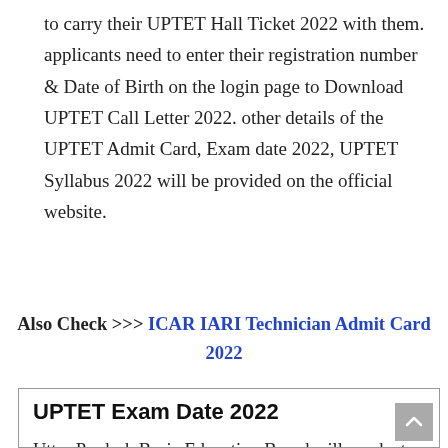to carry their UPTET Hall Ticket 2022 with them. applicants need to enter their registration number & Date of Birth on the login page to Download UPTET Call Letter 2022. other details of the UPTET Admit Card, Exam date 2022, UPTET Syllabus 2022 will be provided on the official website.
Also Check >>> ICAR IARI Technician Admit Card 2022
UPTET Exam Date 2022
Uttar Pradesh Basic Education Board will conduct its UPTET Exam on 23rd January 2022. Participants who have successfully registered for UPTET Recruitment